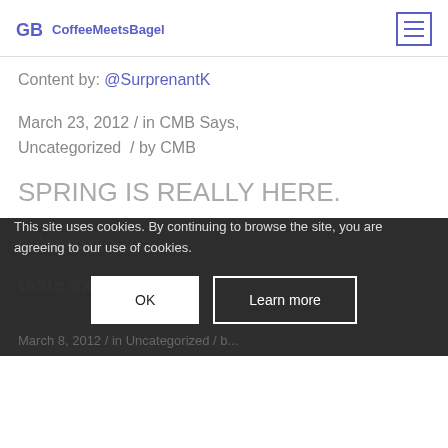CoffeeMeetsBagel
Content by: @SurprenantK
March 23, 2012 / in CMB Says, Uncategorized / by CMB
SPRING IS REALLY HERE.
color explosion
taste explosion
This site uses cookies. By continuing to browse the site, you are agreeing to our use of cookies.
OK
Learn more
March 8, 2012 / in Uncategorized / b...